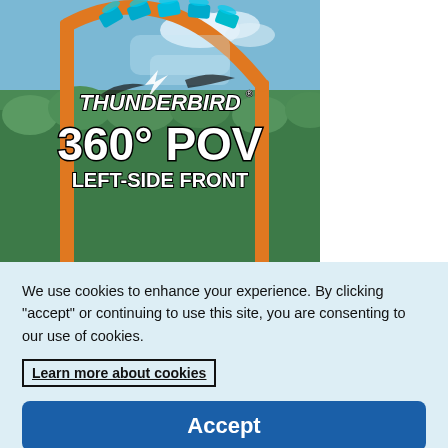[Figure (photo): Thunderbird roller coaster at Holiday World, showing riders going through a loop. Text overlay reads 'THUNDERBIRD 360° POV LEFT-SIDE FRONT'.]
We use cookies to enhance your experience. By clicking "accept" or continuing to use this site, you are consenting to our use of cookies.
Learn more about cookies
Accept